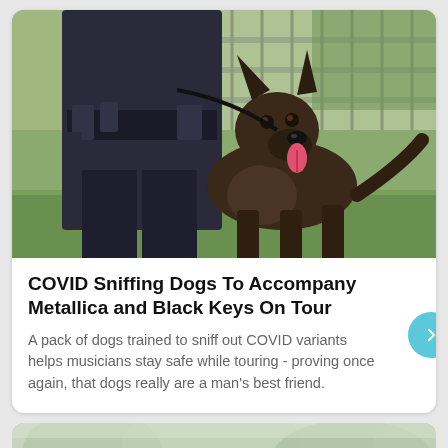[Figure (photo): A police officer in dark uniform holding a leash attached to a dark-colored German Shepherd dog with tongue out, standing outdoors with green grass and metal fencing in background.]
COVID Sniffing Dogs To Accompany Metallica and Black Keys On Tour
A pack of dogs trained to sniff out COVID variants helps musicians stay safe while touring - proving once again, that dogs really are a man's best friend.
[Figure (photo): Partial view of a second article card with blurry outdoor foliage/trees — cropped at bottom of page.]